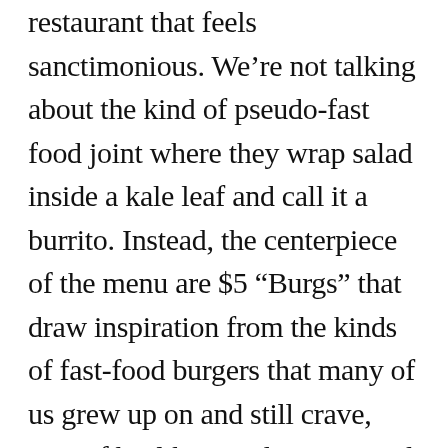restaurant that feels sanctimonious. We're not talking about the kind of pseudo-fast food joint where they wrap salad inside a kale leaf and call it a burrito. Instead, the centerpiece of the menu are $5 “Burgs” that draw inspiration from the kinds of fast-food burgers that many of us grew up on and still crave, even if health considerations and Bay Area food